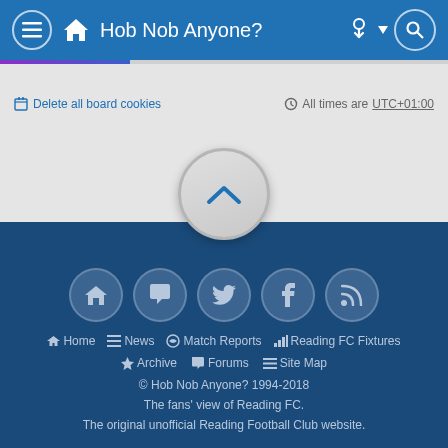Hob Nob Anyone?
Delete all board cookies · All times are UTC+01:00
[Figure (infographic): Back-to-top chevron button circle]
[Figure (infographic): Social icons row: home, forums/chat, twitter, facebook, rss]
Home · News · Match Reports · Reading FC Fixtures · Archive · Forums · Site Map · © Hob Nob Anyone? 1994-2018 · The fans' view of Reading FC. · The original unofficial Reading Football Club website.